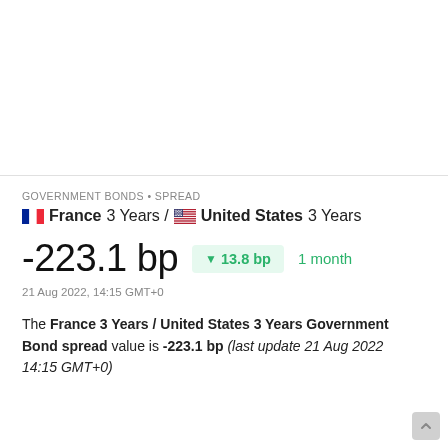GOVERNMENT BONDS • SPREAD
France 3 Years / United States 3 Years
-223.1 bp  ▼ 13.8 bp  1 month
21 Aug 2022, 14:15 GMT+0
The France 3 Years / United States 3 Years Government Bond spread value is -223.1 bp (last update 21 Aug 2022 14:15 GMT+0)